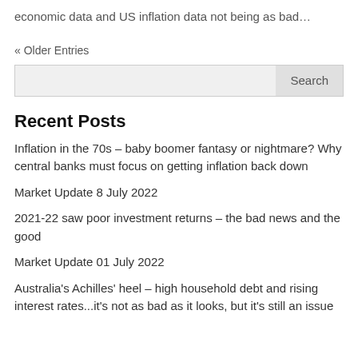economic data and US inflation data not being as bad…
« Older Entries
Inflation in the 70s – baby boomer fantasy or nightmare? Why central banks must focus on getting inflation back down
Market Update 8 July 2022
2021-22 saw poor investment returns – the bad news and the good
Market Update 01 July 2022
Australia's Achilles' heel – high household debt and rising interest rates...it's not as bad as it looks, but it's still an issue